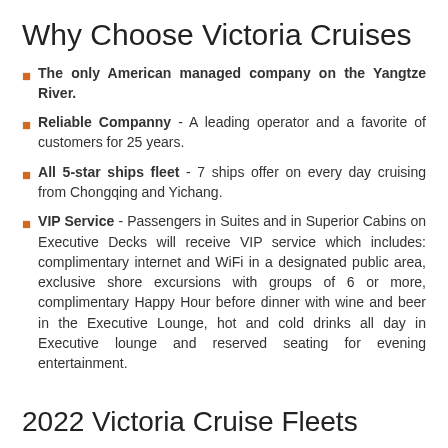Why Choose Victoria Cruises
The only American managed company on the Yangtze River.
Reliable Companny - A leading operator and a favorite of customers for 25 years.
All 5-star ships fleet - 7 ships offer on every day cruising from Chongqing and Yichang.
VIP Service - Passengers in Suites and in Superior Cabins on Executive Decks will receive VIP service which includes: complimentary internet and WiFi in a designated public area, exclusive shore excursions with groups of 6 or more, complimentary Happy Hour before dinner with wine and beer in the Executive Lounge, hot and cold drinks all day in Executive lounge and reserved seating for evening entertainment.
2022 Victoria Cruise Fleets